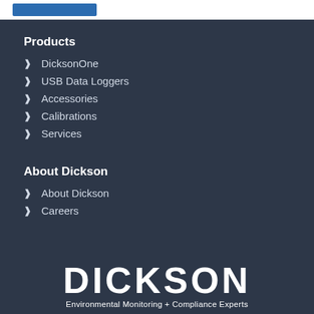Products
DicksonOne
USB Data Loggers
Accessories
Calibrations
Services
About Dickson
About Dickson
Careers
[Figure (logo): Dickson logo with text 'DICKSON' in large bold white letters and tagline 'Environmental Monitoring + Compliance Experts']